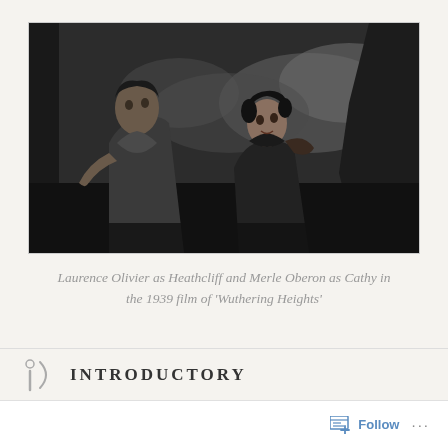[Figure (photo): Black and white photograph of Laurence Olivier as Heathcliff and Merle Oberon as Cathy in the 1939 film of Wuthering Heights. The two actors are posed together, the man sitting slightly behind the woman, both looking upward and to the side, set against a dramatic cloudy backdrop.]
Laurence Olivier as Heathcliff and Merle Oberon as Cathy in the 1939 film of 'Wuthering Heights'
Introductory